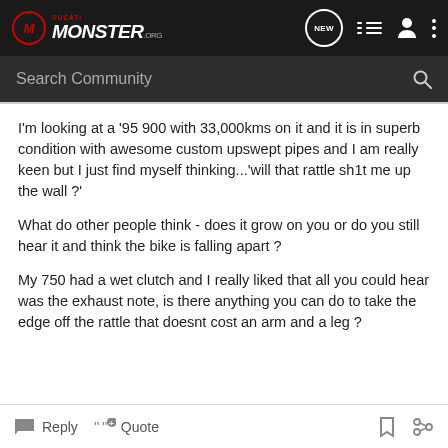Ducati Monster.org — NEW | menu | user | more
Search Community
I'm looking at a '95 900 with 33,000kms on it and it is in superb condition with awesome custom upswept pipes and I am really keen but I just find myself thinking...'will that rattle sh1t me up the wall ?'
What do other people think - does it grow on you or do you still hear it and think the bike is falling apart ?
My 750 had a wet clutch and I really liked that all you could hear was the exhaust note, is there anything you can do to take the edge off the rattle that doesnt cost an arm and a leg ?
Reply  Quote